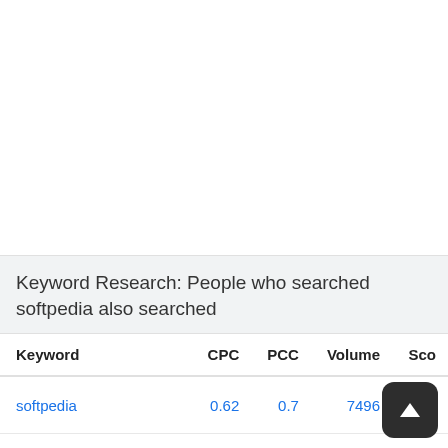Keyword Research: People who searched softpedia also searched
| Keyword | CPC | PCC | Volume | Sco |
| --- | --- | --- | --- | --- |
| softpedia | 0.62 | 0.7 | 7496 | 2 |
| softpedia.com | 0.99 | 1 | 8133 |  |
| softpedia downloads | 1.32 | 0.1 | 6899 | 7 |